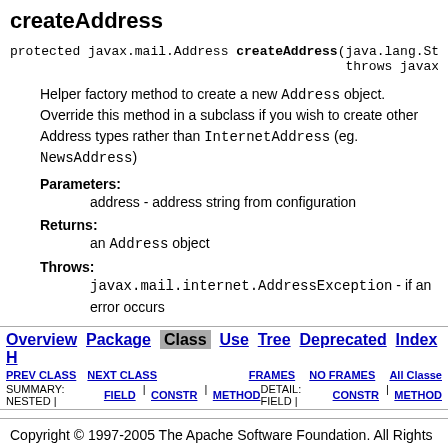createAddress
protected javax.mail.Address createAddress(java.lang.Str... throws javax.mail.int...
Helper factory method to create a new Address object. Override this method in a subclass if you wish to create other Address types rather than InternetAddress (eg. NewsAddress)
Parameters:
address - address string from configuration
Returns:
an Address object
Throws:
javax.mail.internet.AddressException - if an error occurs
Overview | Package | Class | Use | Tree | Deprecated | Index | H
PREV CLASS NEXT CLASS FRAMES NO FRAMES All Classes
SUMMARY: NESTED | FIELD | CONSTR | METHOD DETAIL: FIELD | CONSTR | METHOD
Copyright © 1997-2005 The Apache Software Foundation. All Rights Reserved.